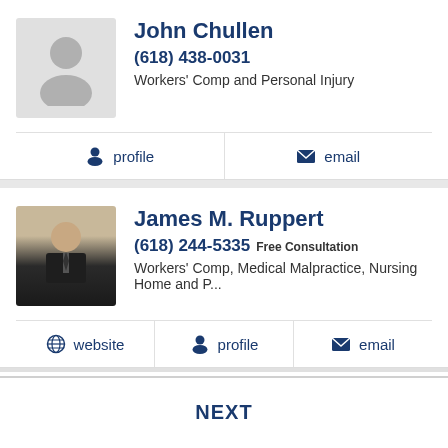John Chullen
(618) 438-0031
Workers' Comp and Personal Injury
profile
email
James M. Ruppert
(618) 244-5335 Free Consultation
Workers' Comp, Medical Malpractice, Nursing Home and P...
website
profile
email
NEXT